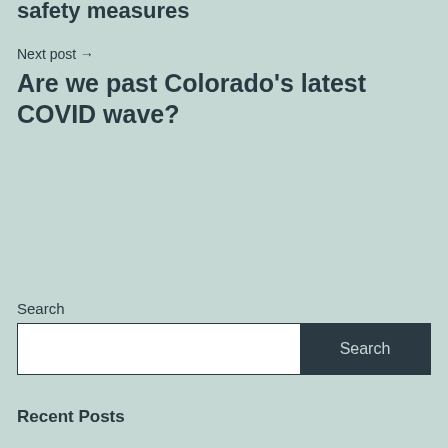safety measures
Next post →
Are we past Colorado's latest COVID wave?
Search
Recent Posts